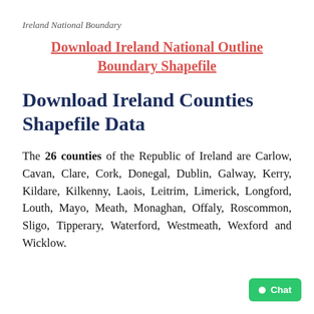Ireland National Boundary
Download Ireland National Outline Boundary Shapefile
Download Ireland Counties Shapefile Data
The 26 counties of the Republic of Ireland are Carlow, Cavan, Clare, Cork, Donegal, Dublin, Galway, Kerry, Kildare, Kilkenny, Laois, Leitrim, Limerick, Longford, Louth, Mayo, Meath, Monaghan, Offaly, Roscommon, Sligo, Tipperary, Waterford, Westmeath, Wexford and Wicklow.